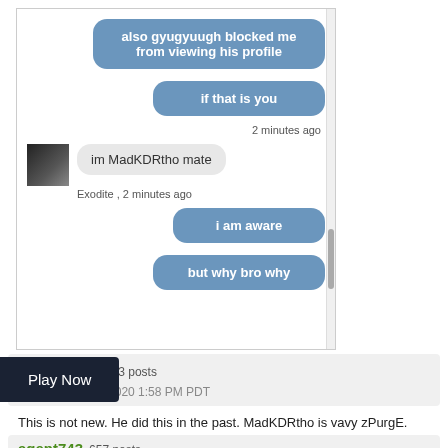[Figure (screenshot): Screenshot of a chat conversation showing messages: 'also gyugyuugh blocked me from viewing his profile', 'if that is you', '2 minutes ago', 'im MadKDRtho mate', 'Exodite , 2 minutes ago', 'i am aware', 'but why bro why']
Ryunosoke  223 posts
October 27, 2020 1:58 PM PDT
This is not new. He did this in the past. MadKDRtho is vavy zPurgE. He scams people.
agent743  657 posts
0 2:15 PM PDT
ny friend from long time ago but suddenly idk wat
Play Now